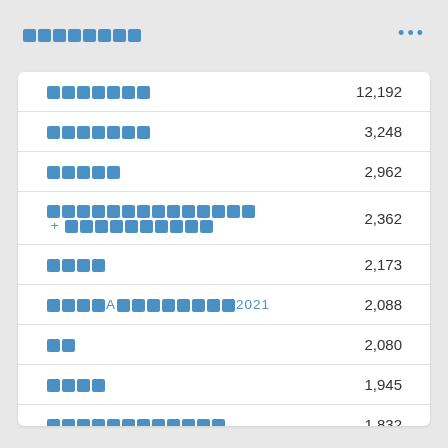□□□□□□□□
| Label | Value |
| --- | --- |
| □□□□□□□ | 12,192 |
| □□□□□□□ | 3,248 |
| □□□□□ | 2,962 |
| □□□□□□□□□□□□□□ + □□□□□□□□□□ | 2,362 |
| □□□□ | 2,173 |
| □□□□A□□□□□□□□2021 | 2,088 |
| □□ | 2,080 |
| □□□□ | 1,945 |
| □□□□□□□□□□□□ | 1,832 |
| □□□ | 1,741 |